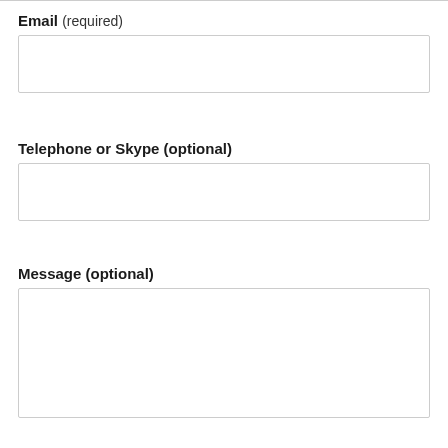Email (required)
Telephone or Skype (optional)
Message (optional)